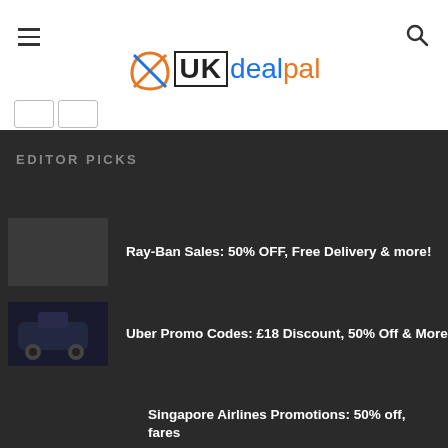[Figure (logo): UKdealpal logo with orange X icon, UK in black box, dealpal in blue and orange handwritten style]
EDITOR PICKS
Ray-Ban Sales: 50% OFF, Free Delivery & more!
[Figure (photo): Uber car thumbnail image]
Uber Promo Codes: £18 Discount, 50% Off & More
Singapore Airlines Promotions: 50% off, fares